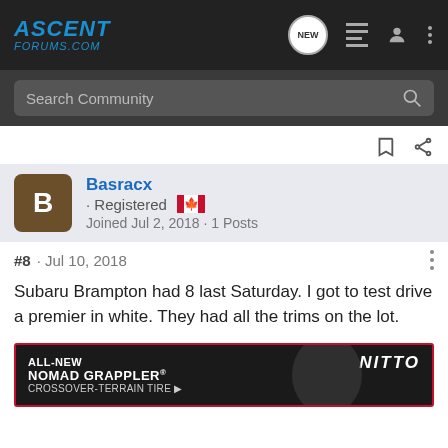AscentForums.com — navigation bar with logo, NEW, list, user, and more icons
Search Community
#8 · Jul 10, 2018
Basracx · Registered
Joined Jul 2, 2018 · 1 Posts
Subaru Brampton had 8 last Saturday. I got to test drive a premier in white. They had all the trims on the lot.
[Figure (advertisement): ALL-NEW NOMAD GRAPPLER CROSSOVER-TERRAIN TIRE ad by NITTO with tire image on dark background]